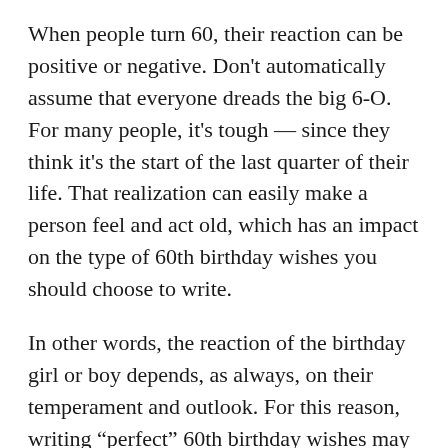When people turn 60, their reaction can be positive or negative. Don't automatically assume that everyone dreads the big 6-O. For many people, it's tough — since they think it's the start of the last quarter of their life. That realization can easily make a person feel and act old, which has an impact on the type of 60th birthday wishes you should choose to write.
In other words, the reaction of the birthday girl or boy depends, as always, on their temperament and outlook. For this reason, writing "perfect" 60th birthday wishes may seem a tad daunting. Here are a few tips:
For birthday boys and girls who feel old at 60, inspirational 60th birthday wishes are the best